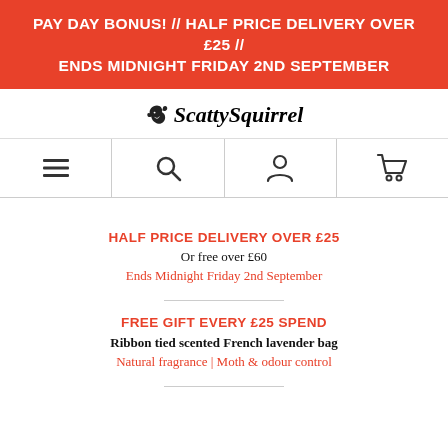PAY DAY BONUS! // HALF PRICE DELIVERY OVER £25 // ENDS MIDNIGHT FRIDAY 2ND SEPTEMBER
ScattySquirrel
[Figure (infographic): Navigation bar with four icons: hamburger menu, search magnifier, person/account, shopping cart]
HALF PRICE DELIVERY OVER £25
Or free over £60
Ends Midnight Friday 2nd September
FREE GIFT EVERY £25 SPEND
Ribbon tied scented French lavender bag
Natural fragrance | Moth & odour control